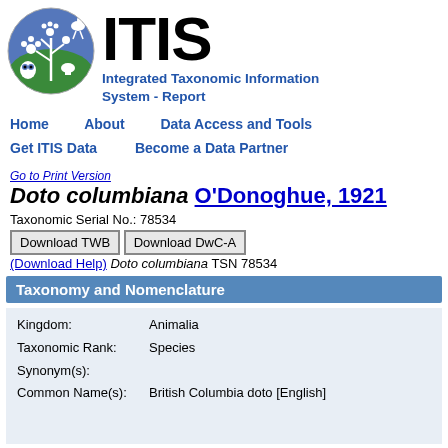[Figure (logo): ITIS circular logo with deer, plants, mushroom, and owl on blue-green background]
ITIS Integrated Taxonomic Information System - Report
Home   About   Data Access and Tools   Get ITIS Data   Become a Data Partner
Go to Print Version
Doto columbiana O'Donoghue, 1921
Taxonomic Serial No.: 78534
Download TWB   Download DwC-A   (Download Help) Doto columbiana TSN 78534
Taxonomy and Nomenclature
| Field | Value |
| --- | --- |
| Kingdom: | Animalia |
| Taxonomic Rank: | Species |
| Synonym(s): |  |
| Common Name(s): | British Columbia doto [English] |